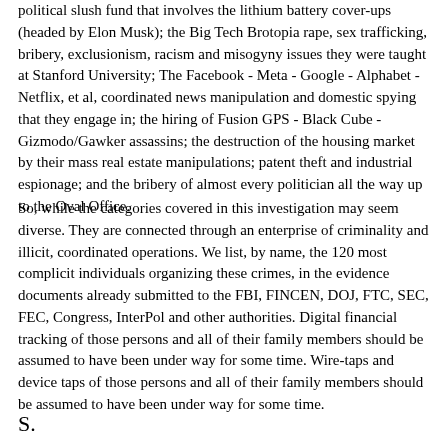political slush fund that involves the lithium battery cover-ups (headed by Elon Musk); the Big Tech Brotopia rape, sex trafficking, bribery, exclusionism, racism and misogyny issues they were taught at Stanford University; The Facebook - Meta - Google - Alphabet - Netflix, et al, coordinated news manipulation and domestic spying that they engage in; the hiring of Fusion GPS - Black Cube - Gizmodo/Gawker assassins; the destruction of the housing market by their mass real estate manipulations; patent theft and industrial espionage; and the bribery of almost every politician all the way up to the Oval Office.
So, while the categories covered in this investigation may seem diverse. They are connected through an enterprise of criminality and illicit, coordinated operations. We list, by name, the 120 most complicit individuals organizing these crimes, in the evidence documents already submitted to the FBI, FINCEN, DOJ, FTC, SEC, FEC, Congress, InterPol and other authorities. Digital financial tracking of those persons and all of their family members should be assumed to have been under way for some time. Wire-taps and device taps of those persons and all of their family members should be assumed to have been under way for some time.
S.